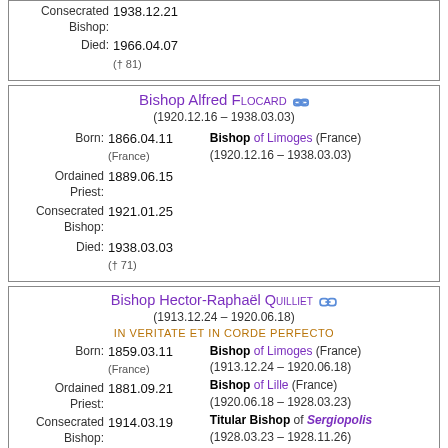| Consecrated Bishop: | 1938.12.21 |
| Died: | 1966.04.07
(† 81) |
| Bishop Alfred Flocard | (1920.12.16 – 1938.03.03) |
| --- | --- |
| Born: | 1866.04.11
(France) | Bishop of Limoges (France)
(1920.12.16 – 1938.03.03) |
| Ordained Priest: | 1889.06.15 |  |
| Consecrated Bishop: | 1921.01.25 |  |
| Died: | 1938.03.03
(† 71) |  |
| Bishop Hector-Raphaël Quilliet | (1913.12.24 – 1920.06.18) |
| --- | --- |
|  | IN VERITATE ET IN CORDE PERFECTO |  |
| Born: | 1859.03.11
(France) | Bishop of Limoges (France)
(1913.12.24 – 1920.06.18)
Bishop of Lille (France)
(1920.06.18 – 1928.03.23)
Titular Bishop of Sergiopolis
(1928.03.23 – 1928.11.26) |
| Ordained Priest: | 1881.09.21 |  |
| Consecrated Bishop: | 1914.03.19 |  |
| Died: | 1928.11.26
(† 69) |  |